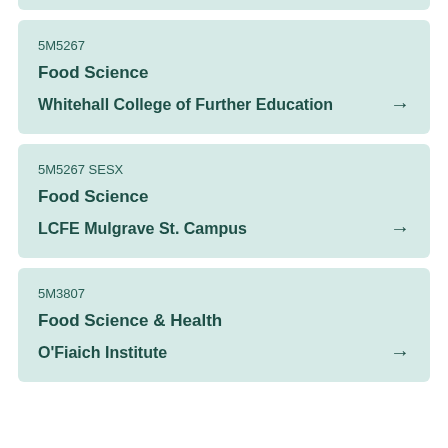5M5267 | Food Science | Whitehall College of Further Education
5M5267 SESX | Food Science | LCFE Mulgrave St. Campus
5M3807 | Food Science & Health | O'Fiaich Institute